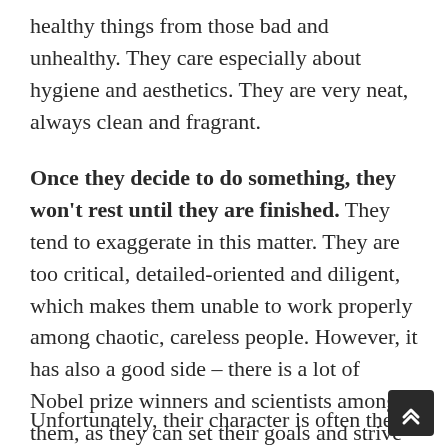healthy things from those bad and unhealthy. They care especially about hygiene and aesthetics. They are very neat, always clean and fragrant.
Once they decide to do something, they won't rest until they are finished. They tend to exaggerate in this matter. They are too critical, detailed-oriented and diligent, which makes them unable to work properly among chaotic, careless people. However, it has also a good side – there is a lot of Nobel prize winners and scientists among them, as they can set their goals and strive for them working hard like anybody else.
Unfortunately, their character is often the